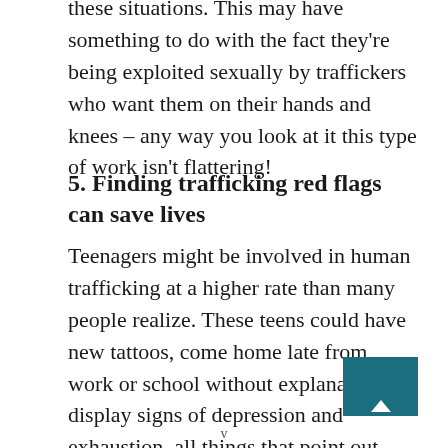these situations. This may have something to do with the fact they're being exploited sexually by traffickers who want them on their hands and knees – any way you look at it this type of work isn't flattering!
5. Finding trafficking red flags can save lives
Teenagers might be involved in human trafficking at a higher rate than many people realize. These teens could have new tattoos, come home late from work or school without explanation, display signs of depression and exhaustion–all things that point out
v